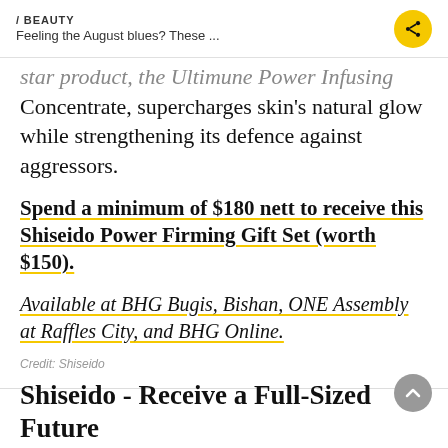/ BEAUTY
Feeling the August blues? These ...
star product, the Ultimune Power Infusing Concentrate, supercharges skin's natural glow while strengthening its defence against aggressors.
Spend a minimum of $180 nett to receive this Shiseido Power Firming Gift Set (worth $150).
Available at BHG Bugis, Bishan, ONE Assembly at Raffles City, and BHG Online.
Credit: Shiseido
Shiseido - Receive a Full-Sized Future